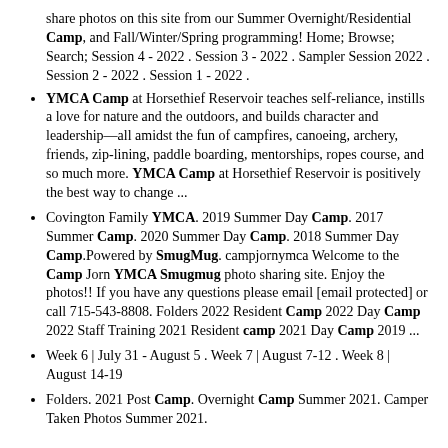share photos on this site from our Summer Overnight/Residential Camp, and Fall/Winter/Spring programming! Home; Browse; Search; Session 4 - 2022 . Session 3 - 2022 . Sampler Session 2022 . Session 2 - 2022 . Session 1 - 2022 .
YMCA Camp at Horsethief Reservoir teaches self-reliance, instills a love for nature and the outdoors, and builds character and leadership—all amidst the fun of campfires, canoeing, archery, friends, zip-lining, paddle boarding, mentorships, ropes course, and so much more. YMCA Camp at Horsethief Reservoir is positively the best way to change ...
Covington Family YMCA. 2019 Summer Day Camp. 2017 Summer Camp. 2020 Summer Day Camp. 2018 Summer Day Camp.Powered by SmugMug. campjornymca Welcome to the Camp Jorn YMCA Smugmug photo sharing site. Enjoy the photos!! If you have any questions please email [email protected] or call 715-543-8808. Folders 2022 Resident Camp 2022 Day Camp 2022 Staff Training 2021 Resident camp 2021 Day Camp 2019 ...
Week 6 | July 31 - August 5 . Week 7 | August 7-12 . Week 8 | August 14-19
Folders. 2021 Post Camp. Overnight Camp Summer 2021. Camper Taken Photos Summer 2021.